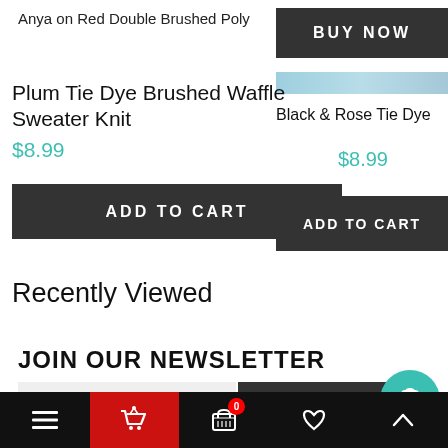Anya on Red Double Brushed Poly
[Figure (other): BUY NOW button (dark gray)]
[Figure (other): Light blue/teal color swatch bar]
Plum Tie Dye Brushed Waffle Sweater Knit
Black & Rose Tie Dye
$8.99
$8.99
[Figure (other): ADD TO CART button (dark gray)]
[Figure (other): ADD TO CART button (dark gray)]
Recently Viewed
JOIN OUR NEWSLETTER
e-mail address
SUBSCRIBE
Bottom navigation bar with menu, cart, wishlist, up arrow icons